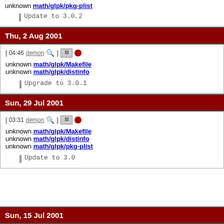unknown math/glpk/pkg-plist
Update to 3.0.2
Thu, 2 Aug 2001
[ 04:46 demon ] [monitor] [circle]
unknown math/glpk/Makefile
unknown math/glpk/distinfo
Upgrade to 3.0.1
Sun, 29 Jul 2001
[ 03:31 demon ] [monitor] [circle]
unknown math/glpk/Makefile
unknown math/glpk/distinfo
unknown math/glpk/pkg-plist
Update to 3.0
Sun, 15 Jul 2001